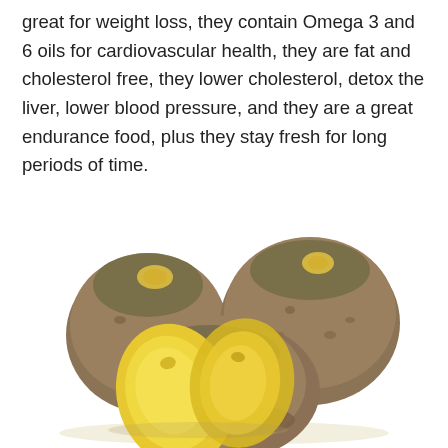great for weight loss, they contain Omega 3 and 6 oils for cardiovascular health, they are fat and cholesterol free, they lower cholesterol, detox the liver, lower blood pressure, and they are a great endurance food, plus they stay fresh for long periods of time.
[Figure (photo): Photo of whole and sliced rutabagas (turnips) showing yellow interior flesh and brown-purple skin, arranged on white background]